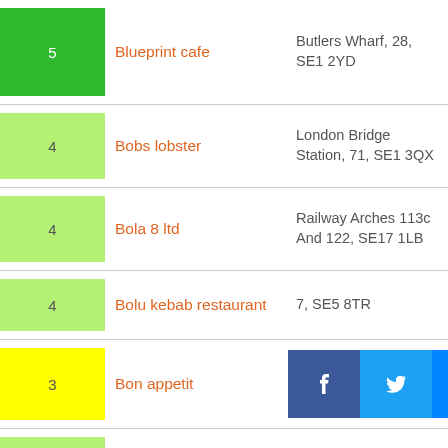| Score | Name | Address |
| --- | --- | --- |
| 5 | Blueprint cafe | Butlers Wharf, 28, SE1 2YD |
| 4 | Bobs lobster | London Bridge Station, 71, SE1 3QX |
| 4 | Bola 8 ltd | Railway Arches 113c And 122, SE17 1LB |
| 4 | Bolu kebab restaurant | 7, SE5 8TR |
| 3 | Bon appetit | St George The Martyr C Of E Ch, SE1 1JA |
| 4 | Bonbori sushi izakaya | Railway Arch 85, SE1 0XN |
| 5 | Bone daddies | Unit 28 Old Jamaica Business, 24, SE16 4AN |
| 5 | Boro bi[cut] | o, SE1 9QO |
| 5 | Boro [cut] | [cut] |